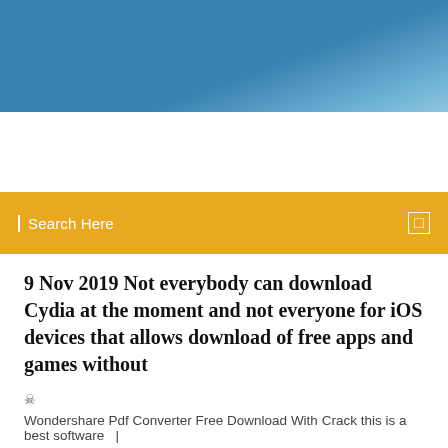[Figure (photo): Blue sky gradient header image]
Search Here
9 Nov 2019 Not everybody can download Cydia at the moment and not everyone for iOS devices that allows download of free apps and games without
Wondershare Pdf Converter Free Download With Crack this is a best software  |
3 Comments
Free Mobile Games - The very best free mobile games to play on your Android or iOS phone or tablet! Second Galaxy. A new